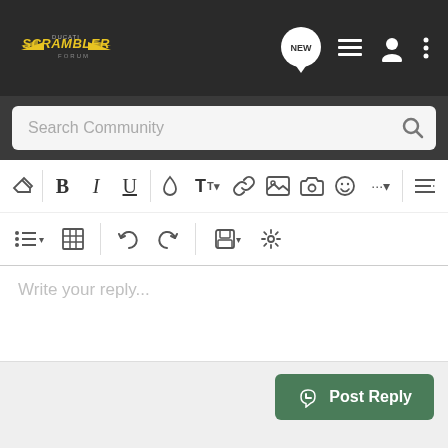Ducati Scrambler Forum
Search Community
[Figure (screenshot): Forum text editor toolbar with formatting buttons: eraser, bold, italic, underline, ink drop, text size, link, image, camera, emoji, more, align; and second row: list, table, undo, redo, save, settings]
Write your reply...
Post Reply
Recommended Reading